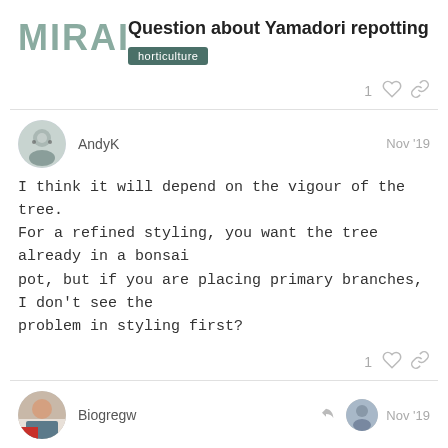[Figure (logo): MIRAI logo in gray-green bold text]
Question about Yamadori repotting
horticulture
1
AndyK
Nov '19
I think it will depend on the vigour of the tree.
For a refined styling, you want the tree already in a bonsai pot, but if you are placing primary branches, I don't see the problem in styling first?
1
Biogregw
Nov '19